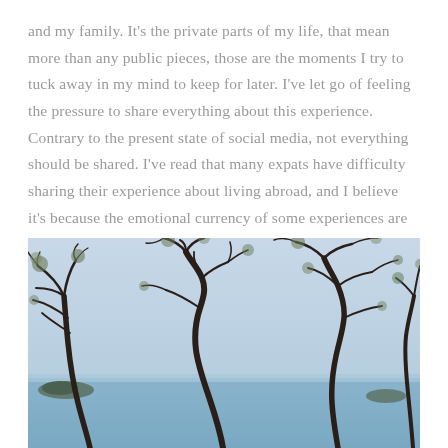and my family. It's the private parts of my life, that mean more than any public pieces, those are the moments I try to tuck away in my mind to keep for later. I've let go of feeling the pressure to share everything about this experience. Contrary to the present state of social media, not everything should be shared. I've read that many expats have difficulty sharing their experience about living abroad, and I believe it's because the emotional currency of some experiences are so rich in value that they cannot be exchanged.
[Figure (photo): Coastal scene with twisted bare trees in the foreground against a pale blue sky and calm ocean water, with small rocky islands visible in the distance on left and right.]